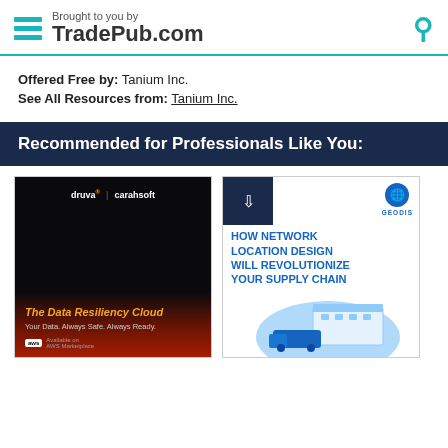Brought to you by TradePub.com
Offered Free by: Tanium Inc.
See All Resources from: Tanium Inc.
Recommended for Professionals Like You:
[Figure (other): Book cover for 'The Data Resiliency Cloud - Your Data. Always Safe. Always Ready.' by Druva and Carahsoft, dark background with red glow, AWS Marketplace logo]
[Figure (other): Book cover for 'How Network Location Design Will Revolutionize Your Supply Chain' by GEODIS, white background with blue illustration of warehouse]